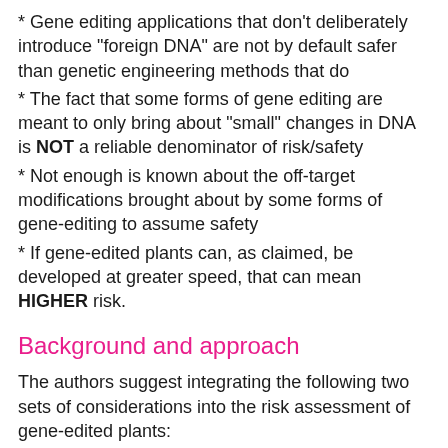* Gene editing applications that don't deliberately introduce "foreign DNA" are not by default safer than genetic engineering methods that do
* The fact that some forms of gene editing are meant to only bring about "small" changes in DNA is NOT a reliable denominator of risk/safety
* Not enough is known about the off-target modifications brought about by some forms of gene-editing to assume safety
* If gene-edited plants can, as claimed, be developed at greater speed, that can mean HIGHER risk.
Background and approach
The authors suggest integrating the following two sets of considerations into the risk assessment of gene-edited plants:
* those related to the traits intentionally developed by gene editing, and
* those addressing the assessment of unintended